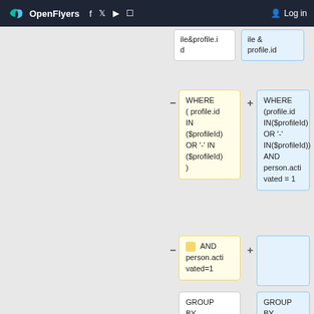OpenFlyers  Log in
[Figure (screenshot): Side-by-side comparison of SQL query blocks showing WHERE, AND, GROUP BY, and ) AS personWith clauses in yellow (left) and blue (right) columns with plus/minus toggle controls.]
ile&profile.id
ile & profile.id
WHERE ( profile.id IN ($profileId) OR '-' IN ($profileId) )
WHERE (profile.id IN($profileId) OR '-' IN($profileId)) AND person.activated = 1
AND person.activated=1
GROUP BY person.id
GROUP BY person.id
) AS personWith
) AS personWith